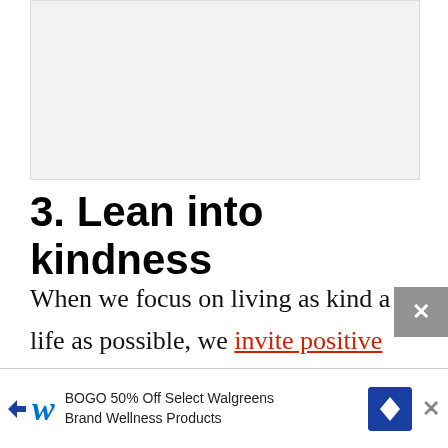[Figure (other): Gray placeholder image area at top of page]
3. Lean into kindness
When we focus on living as kind a life as possible, we invite positive energy into our bodies.
Kindness is contagious and teachable...
[Figure (other): Walgreens advertisement banner: BOGO 50% Off Select Walgreens Brand Wellness Products]